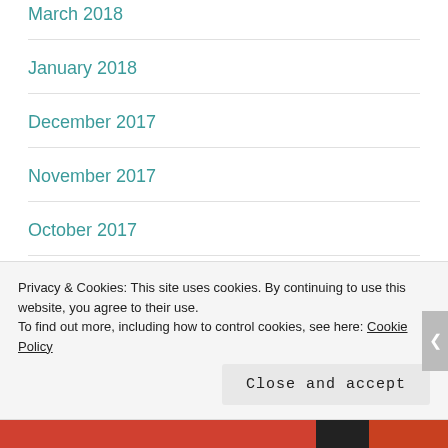March 2018
January 2018
December 2017
November 2017
October 2017
September 2017
August 2017
June 2017
Privacy & Cookies: This site uses cookies. By continuing to use this website, you agree to their use.
To find out more, including how to control cookies, see here: Cookie Policy
Close and accept